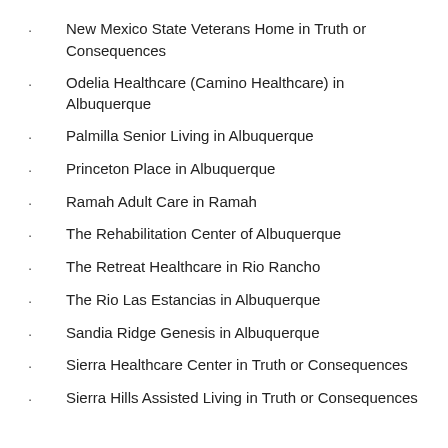New Mexico State Veterans Home in Truth or Consequences
Odelia Healthcare (Camino Healthcare) in Albuquerque
Palmilla Senior Living in Albuquerque
Princeton Place in Albuquerque
Ramah Adult Care in Ramah
The Rehabilitation Center of Albuquerque
The Retreat Healthcare in Rio Rancho
The Rio Las Estancias in Albuquerque
Sandia Ridge Genesis in Albuquerque
Sierra Healthcare Center in Truth or Consequences
Sierra Hills Assisted Living in Truth or Consequences